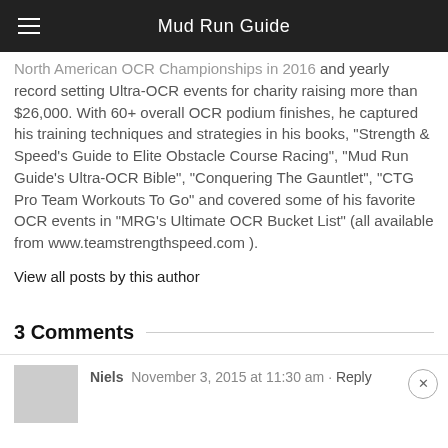Mud Run Guide
North American OCR Championships in 2016 and yearly record setting Ultra-OCR events for charity raising more than $26,000. With 60+ overall OCR podium finishes, he captured his training techniques and strategies in his books, "Strength & Speed's Guide to Elite Obstacle Course Racing", "Mud Run Guide's Ultra-OCR Bible", "Conquering The Gauntlet", "CTG Pro Team Workouts To Go" and covered some of his favorite OCR events in "MRG's Ultimate OCR Bucket List" (all available from www.teamstrengthspeed.com ).
View all posts by this author
3 Comments
Niels  November 3, 2015 at 11:30 am · Reply